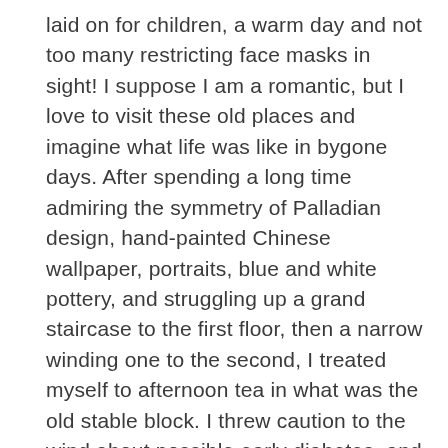laid on for children, a warm day and not too many restricting face masks in sight! I suppose I am a romantic, but I love to visit these old places and imagine what life was like in bygone days. After spending a long time admiring the symmetry of Palladian design, hand-painted Chinese wallpaper, portraits, blue and white pottery, and struggling up a grand staircase to the first floor, then a narrow winding one to the second, I treated myself to afternoon tea in what was the old stable block. I threw caution to the wind about possible early diabetes, and thoroughly enjoyed a big slice of poppyseed cake topped with yummy orange butter cream!